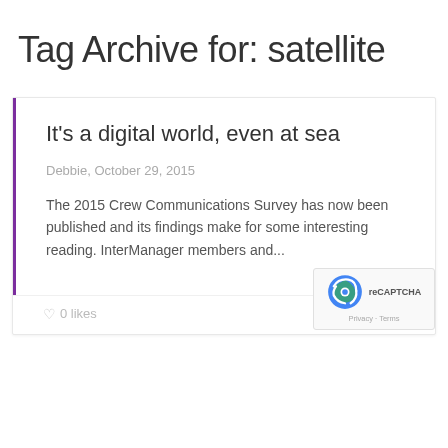Tag Archive for: satellite
It's a digital world, even at sea
Debbie, October 29, 2015
The 2015 Crew Communications Survey has now been published and its findings make for some interesting reading. InterManager members and...
0 likes